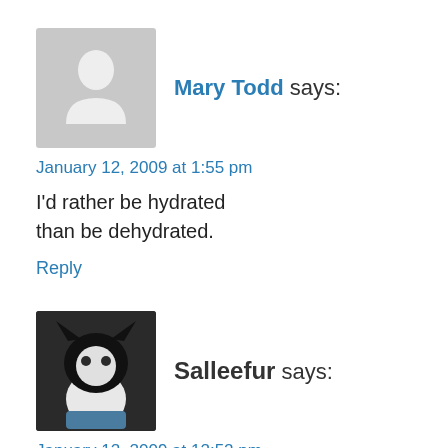Mary Todd says:
January 12, 2009 at 1:55 pm
I'd rather be hydrated than be dehydrated.
Reply
[Figure (photo): Black and white cat photo used as avatar for Salleefur]
Salleefur says:
January 12, 2009 at 12:52 pm
Way cool! Especially because I need to drink as much water as possible! Doctor's orders! This would be a fun and unique way to do just that!